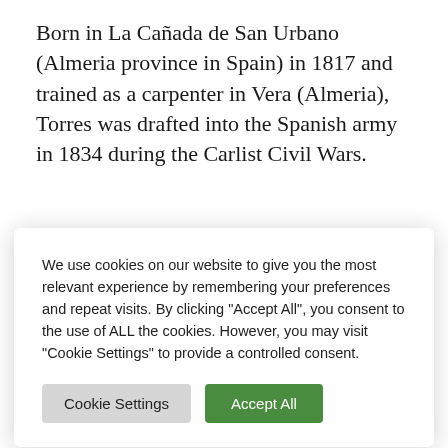Born in La Cañada de San Urbano (Almeria province in Spain) in 1817 and trained as a carpenter in Vera (Almeria), Torres was drafted into the Spanish army in 1834 during the Carlist Civil Wars.
We use cookies on our website to give you the most relevant experience by remembering your preferences and repeat visits. By clicking "Accept All", you consent to the use of ALL the cookies. However, you may visit "Cookie Settings" to provide a controlled consent.
years.
In 1845, Torres moved to Seville and started making the guitars of his First Epoque in 1856. In 1869 Torres moved back to Almeria and began his second epoque in 1875. Torres died in Almeria in 1892.